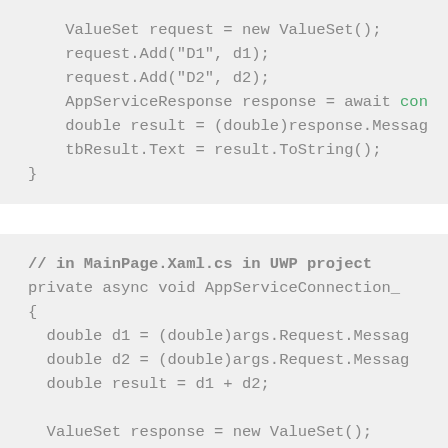[Figure (screenshot): Code block 1 (top): C# code snippet showing ValueSet request operations with AppServiceResponse]
[Figure (screenshot): Code block 2 (bottom): C# code snippet showing MainPage.Xaml.cs in UWP project with AppServiceConnection handler]